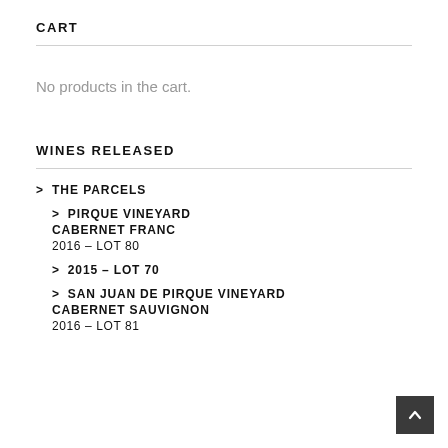CART
No products in the cart.
WINES RELEASED
> THE PARCELS
> PIRQUE VINEYARD CABERNET FRANC 2016 – LOT 80
> 2015 – LOT 70
> SAN JUAN DE PIRQUE VINEYARD CABERNET SAUVIGNON 2016 – LOT 81